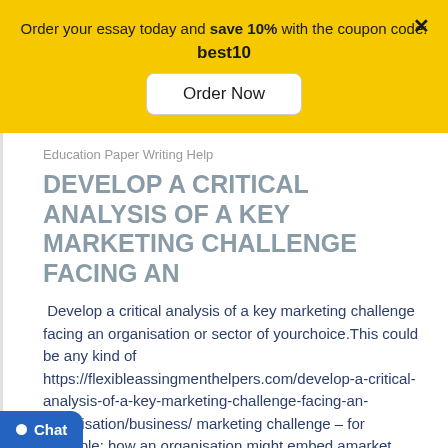Order your essay today and save 10% with the coupon code: best10
Order Now
Education Paper Writing Help
DEVELOP A CRITICAL ANALYSIS OF A KEY MARKETING CHALLENGE FACING AN
Develop a critical analysis of a key marketing challenge facing an organisation or sector of yourchoice.This could be any kind of https://flexibleassingmenthelpers.com/develop-a-critical-analysis-of-a-key-marketing-challenge-facing-an-organisation/business/ marketing challenge – for example: how an organisation might embed amarket entation into their culture; how they might https://splendidhomeworkhelpers.com/the-aim-of-